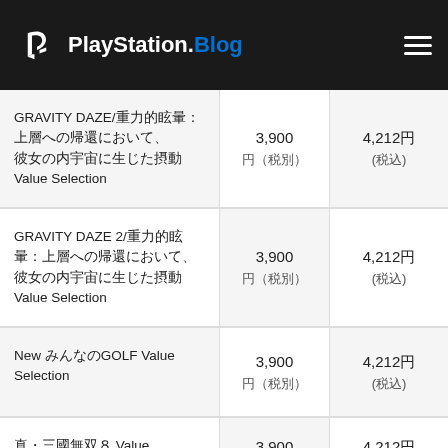PlayStation.Blog
| Product Name | Price (tax excl.) | Price (tax incl.) |
| --- | --- | --- |
| GRAVITY DAZE/重力的眩暈：上層への帰還において、彼女の内宇宙に生じた摂動 Value Selection | 3,900 円（税別） | 4,212円 (税込) |
| GRAVITY DAZE 2/重力的眩暈：上層への帰還において、彼女の内宇宙に生じた摂動 Value Selection | 3,900 円（税別） | 4,212円 (税込) |
| New みんなのGOLF Value Selection | 3,900 円（税別） | 4,212円 (税込) |
| 真・三國無双８ Value Selection | 3,900 円（税別） | 4,212円 (税込) |